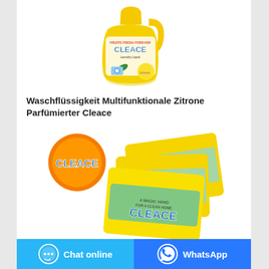[Figure (photo): Yellow CLEACE laundry liquid bottle with lemon design and green accents]
Waschflüssigkeit Multifunktionale Zitrone Parfümierter Cleace
[Figure (photo): CLEACE brand logo on orange circle sticker and stacked yellow CLEACE laundry sachets/packets]
Chat online   WhatsApp